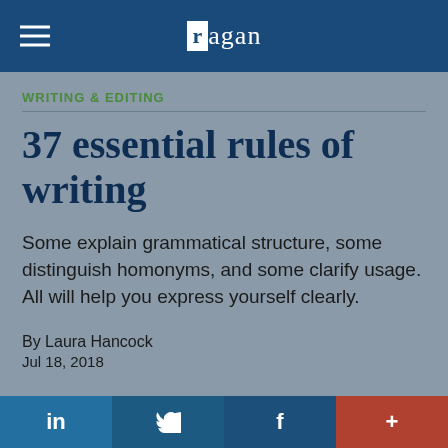ragan
WRITING & EDITING
37 essential rules of writing
Some explain grammatical structure, some distinguish homonyms, and some clarify usage. All will help you express yourself clearly.
By Laura Hancock
Jul 18, 2018
in  [Twitter bird]  f  +